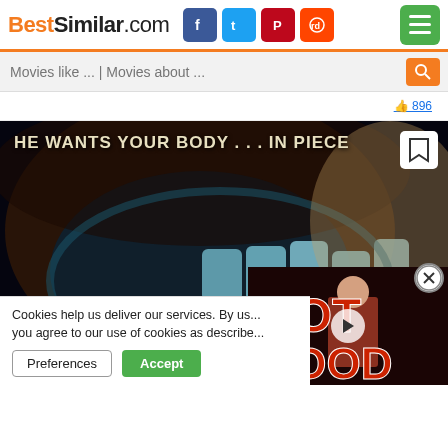[Figure (screenshot): BestSimilar.com website navigation bar with logo, social media icons (Facebook, Twitter, Pinterest, Reddit), and hamburger menu button]
[Figure (screenshot): Search bar with placeholder text 'Movies like ... | Movies about ...' and orange search button]
👍 896
[Figure (photo): Horror movie poster showing a large open mouth with teeth and text 'HE WANTS YOUR BODY...IN PIECES' at top, dark cemetery background]
[Figure (screenshot): Video thumbnail overlay showing 'NOT GOOD' text in red letters with a person and play button]
Cookies help us deliver our services. By us... you agree to our use of cookies as describe...
Preferences
Accept